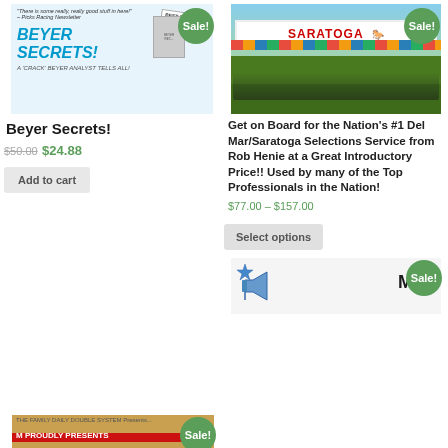[Figure (photo): Book cover for Beyer Secrets with Sale badge]
Beyer Secrets!
$50.00 $24.88
Add to cart
[Figure (photo): Saratoga horse racing photo with Sale badge]
Get on Board for the Nation's #1 Del Mar/Saratoga Selections Service from Rob Henie at a Great Introductory Price!! Used by many of the Top Professionals in the Nation!
$77.00 – $157.00
Select options
[Figure (photo): Bottom left product image with Sale badge, M PROUDLY PRESENTS text]
[Figure (photo): Bottom right product image with Sale badge, MAG text]